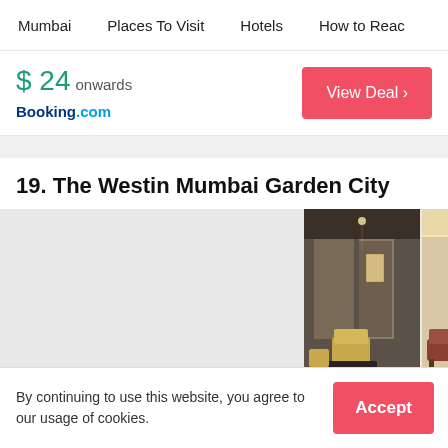Mumbai   Places To Visit   Hotels   How to Reac
$ 24 onwards
Booking.com
19. The Westin Mumbai Garden City
[Figure (photo): Hotel room interior photos of The Westin Mumbai Garden City showing two room views side by side]
By continuing to use this website, you agree to our usage of cookies.